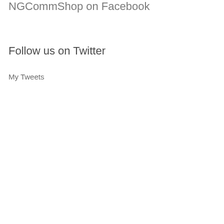NGCommShop on Facebook
Follow us on Twitter
My Tweets